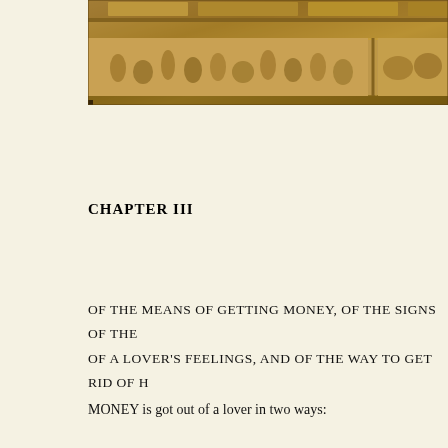[Figure (photo): Stone carved relief frieze from an ancient Indian temple (Khajuraho style), showing carved figures and animals in horizontal panels, golden-brown sandstone]
CHAPTER III
OF THE MEANS OF GETTING MONEY, OF THE SIGNS OF THE
OF A LOVER'S FEELINGS, AND OF THE WAY TO GET RID OF H
MONEY is got out of a lover in two ways: